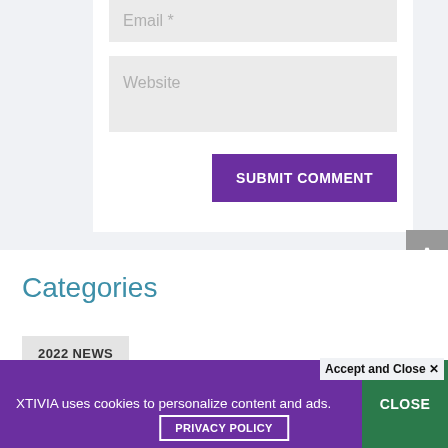Email *
Website
SUBMIT COMMENT
Categories
2022 NEWS
Accept and Close ×
XTIVIA uses cookies to personalize content and ads.
CLOSE
PRIVACY POLICY